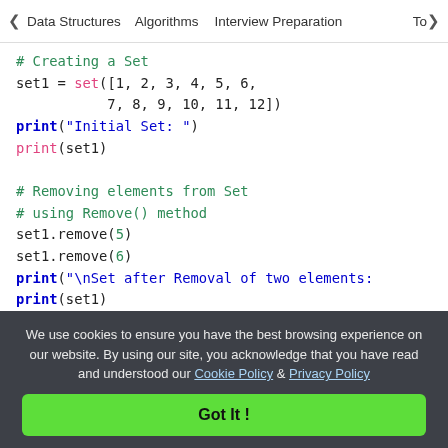< Data Structures   Algorithms   Interview Preparation   To>
[Figure (screenshot): Python code snippet showing set creation and element removal using remove() and discard() methods]
We use cookies to ensure you have the best browsing experience on our website. By using our site, you acknowledge that you have read and understood our Cookie Policy & Privacy Policy
Got It !